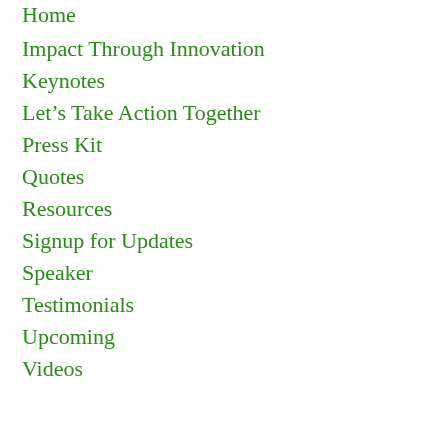Home
Impact Through Innovation
Keynotes
Let's Take Action Together
Press Kit
Quotes
Resources
Signup for Updates
Speaker
Testimonials
Upcoming
Videos